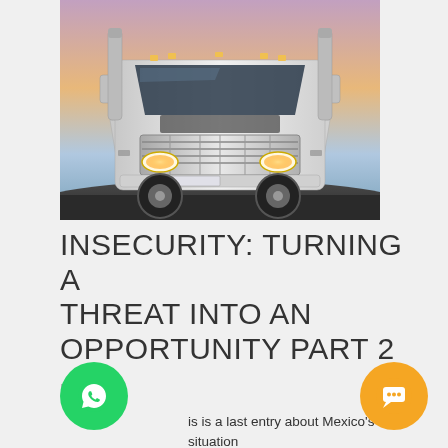[Figure (photo): Front view of a large white semi-truck (18-wheeler) shot from a low angle against a sunset/dusk sky. The truck has chrome grille, amber headlights on, and is positioned slightly angled to the right.]
INSECURITY: TURNING A THREAT INTO AN OPPORTUNITY PART 2
Blog
is is a last entry about Mexico's situation related to the Transportation Services. Read here the first part. Carrier insurance